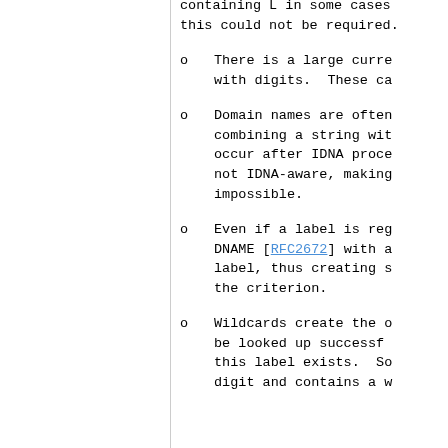containing L in some cases, this could not be required.
There is a large current with digits. These ca
Domain names are often combining a string with occur after IDNA process not IDNA-aware, making impossible.
Even if a label is reg DNAME [RFC2672] with a label, thus creating se the criterion.
Wildcards create the oc be looked up successfu this label exists. So digit and contains a w